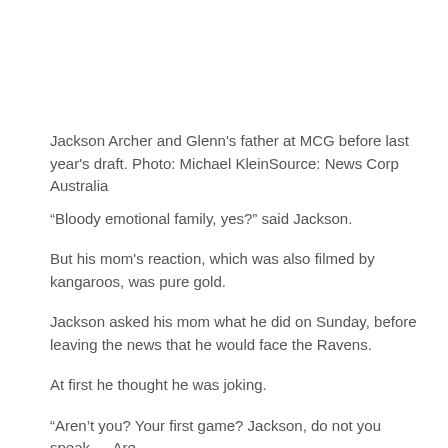Jackson Archer and Glenn's father at MCG before last year's draft. Photo: Michael KleinSource: News Corp Australia
“Bloody emotional family, yes?” said Jackson.
But his mom's reaction, which was also filmed by kangaroos, was pure gold.
Jackson asked his mom what he did on Sunday, before leaving the news that he would face the Ravens.
At first he thought he was joking.
“Aren’t you? Your first game? Jackson, do not you speak … Are